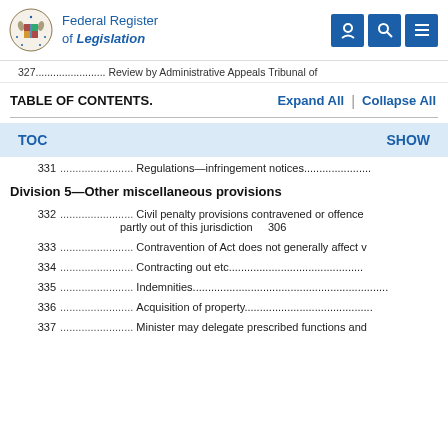Federal Register of Legislation
327........................ Review by Administrative Appeals Tribunal of
TABLE OF CONTENTS.
TOC   SHOW
331........................ Regulations—infringement notices......................
Division 5—Other miscellaneous provisions
332........................ Civil penalty provisions contravened or offence partly out of this jurisdiction    306
333........................ Contravention of Act does not generally affect v
334........................ Contracting out etc....................................................
335........................ Indemnities.............................................................
336........................ Acquisition of property.........................................
337........................ Minister may delegate prescribed functions and